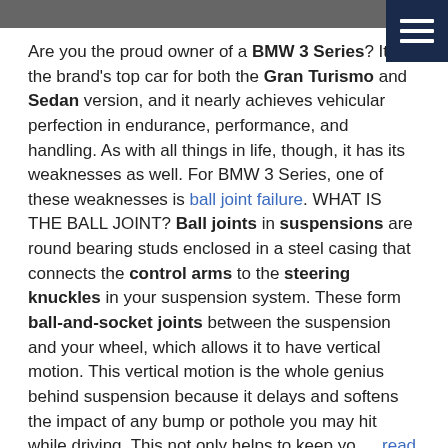[Figure (photo): Cropped top portion of a photo showing a BMW car, partially visible]
Are you the proud owner of a BMW 3 Series? It is the brand's top car for both the Gran Turismo and Sedan version, and it nearly achieves vehicular perfection in endurance, performance, and handling. As with all things in life, though, it has its weaknesses as well. For BMW 3 Series, one of these weaknesses is ball joint failure. WHAT IS THE BALL JOINT? Ball joints in suspensions are round bearing studs enclosed in a steel casing that connects the control arms to the steering knuckles in your suspension system. These form ball-and-socket joints between the suspension and your wheel, which allows it to have vertical motion. This vertical motion is the whole genius behind suspension because it delays and softens the impact of any bump or pothole you may hit while driving. This not only helps to keep yo ... read more